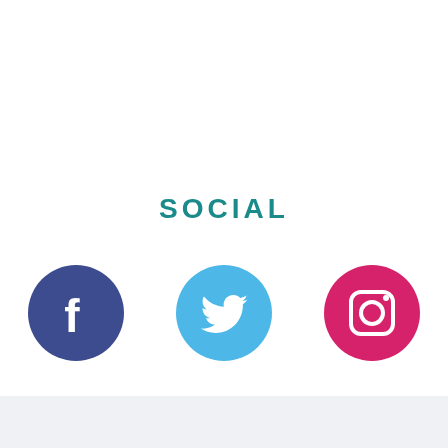SOCIAL
[Figure (logo): Three social media icons in circles: Facebook (dark blue-purple), Twitter (sky blue), Instagram (pink/crimson)]